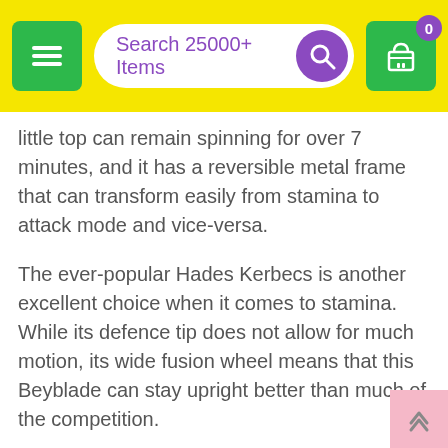Search 25000+ Items
little top can remain spinning for over 7 minutes, and it has a reversible metal frame that can transform easily from stamina to attack mode and vice-versa.
The ever-popular Hades Kerbecs is another excellent choice when it comes to stamina. While its defence tip does not allow for much motion, its wide fusion wheel means that this Beyblade can stay upright better than much of the competition.
Other Beyblades that can go the distance include the Flash Sagittario, the Scythe Kronos, and the Burn Fireblaze 135MS. The Sagittario II energy ring in particular is notably heavy and defensive, while the free-spinning fusion wheel found on the